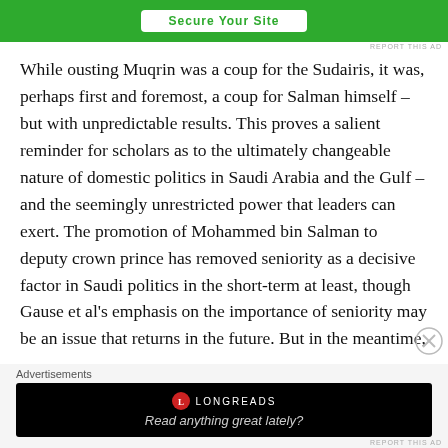[Figure (screenshot): Green advertisement banner at top with white button reading 'Secure Your Site']
REPORT THIS AD
While ousting Muqrin was a coup for the Sudairis, it was, perhaps first and foremost, a coup for Salman himself – but with unpredictable results. This proves a salient reminder for scholars as to the ultimately changeable nature of domestic politics in Saudi Arabia and the Gulf – and the seemingly unrestricted power that leaders can exert. The promotion of Mohammed bin Salman to deputy crown prince has removed seniority as a decisive factor in Saudi politics in the short-term at least, though Gause et al's emphasis on the importance of seniority may be an issue that returns in the future. But in the meantime,
Advertisements
[Figure (screenshot): Longreads advertisement on black background reading 'Read anything great lately?']